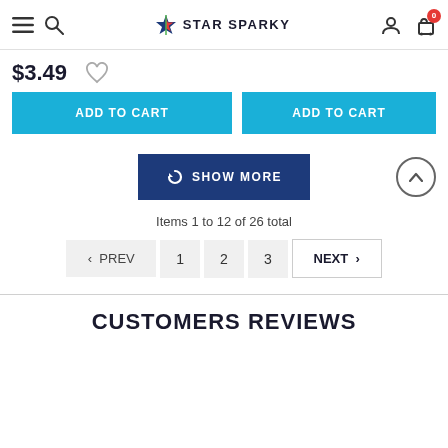STAR SPARKY
$3.49
ADD TO CART
ADD TO CART
SHOW MORE
Items 1 to 12 of 26 total
< PREV  1  2  3  NEXT >
CUSTOMERS REVIEWS